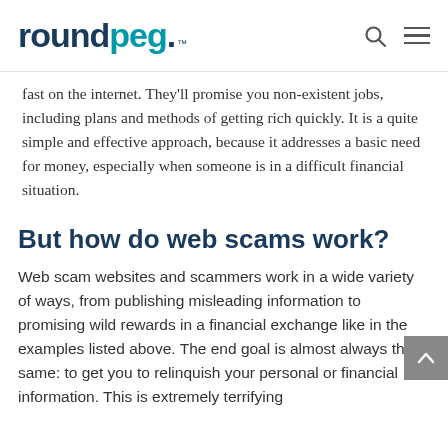roundpeg.
fast on the internet. They'll promise you non-existent jobs, including plans and methods of getting rich quickly. It is a quite simple and effective approach, because it addresses a basic need for money, especially when someone is in a difficult financial situation.
But how do web scams work?
Web scam websites and scammers work in a wide variety of ways, from publishing misleading information to promising wild rewards in a financial exchange like in the examples listed above. The end goal is almost always the same: to get you to relinquish your personal or financial information. This is extremely terrifying